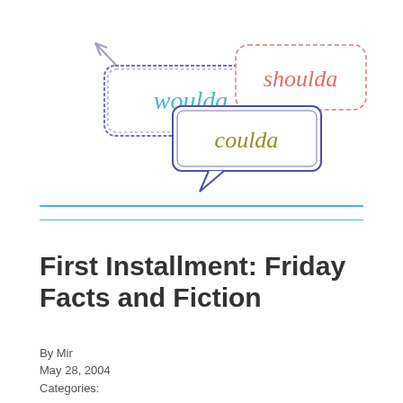[Figure (illustration): Decorative blog header illustration showing three speech bubbles with hand-drawn doodle style. Left bubble (blue scalloped border) contains 'woulda' in teal italic. Center bubble (purple outline with tail) contains 'coulda' in olive/green italic. Right bubble (pink dashed outline) contains 'shoulda' in coral/orange italic. A diagonal arrow or pencil shape points left in the upper left.]
First Installment: Friday Facts and Fiction
By Mir
May 28, 2004